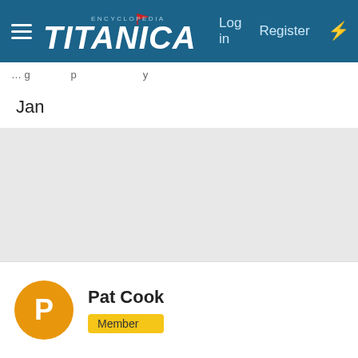Encyclopedia Titanica — Log in   Register
Jan
Pat Cook
Member